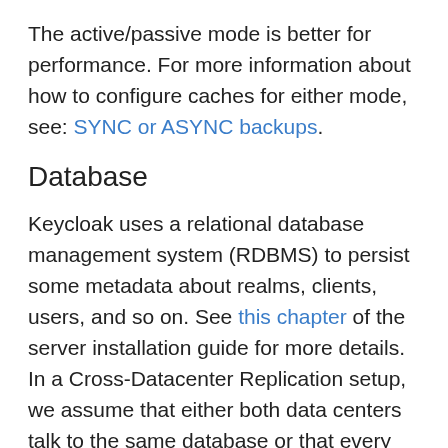The active/passive mode is better for performance. For more information about how to configure caches for either mode, see: SYNC or ASYNC backups.
Database
Keycloak uses a relational database management system (RDBMS) to persist some metadata about realms, clients, users, and so on. See this chapter of the server installation guide for more details. In a Cross-Datacenter Replication setup, we assume that either both data centers talk to the same database or that every data center has its own database node and both database nodes are synchronously replicated across the data centers. In both cases, it is required that when a Keycloak server on site1 persists some data and commits the transaction, those data are immediately visible by subsequent DB transactions